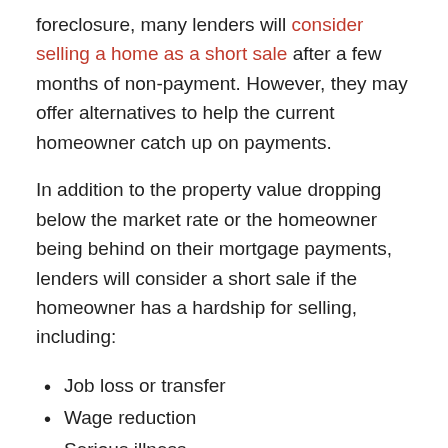foreclosure, many lenders will consider selling a home as a short sale after a few months of non-payment. However, they may offer alternatives to help the current homeowner catch up on payments.
In addition to the property value dropping below the market rate or the homeowner being behind on their mortgage payments, lenders will consider a short sale if the homeowner has a hardship for selling, including:
Job loss or transfer
Wage reduction
Serious illness
A buyer's real estate agent can provide the verification that buyers need before moving forward with the short sale process.
Submit Documentation and